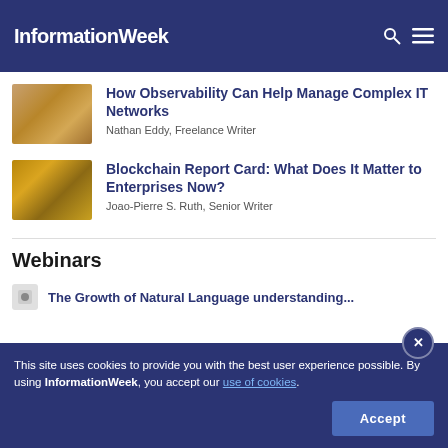InformationWeek
[Figure (photo): Thumbnail image of a telescope, warm golden/brown tones]
How Observability Can Help Manage Complex IT Networks
Nathan Eddy, Freelance Writer
[Figure (photo): Thumbnail image of Bitcoin gold coins]
Blockchain Report Card: What Does It Matter to Enterprises Now?
Joao-Pierre S. Ruth, Senior Writer
Webinars
This site uses cookies to provide you with the best user experience possible. By using InformationWeek, you accept our use of cookies.
Accept